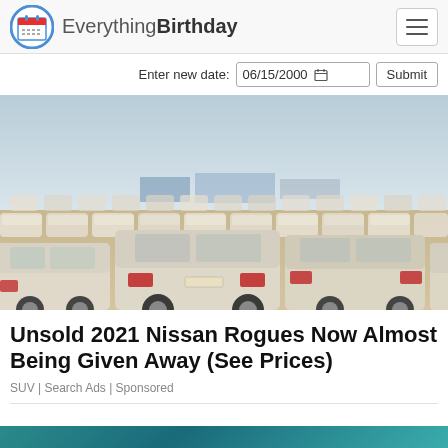EverythingBirthday
Enter new date: 06/15/2000  Submit
[Figure (photo): Large parking lot filled with rows of white Nissan Rogue SUVs parked in a dusty open-air lot, taken from ground level showing many cars receding into the distance against a hazy sky.]
Unsold 2021 Nissan Rogues Now Almost Being Given Away (See Prices)
SUV | Search Ads | Sponsored